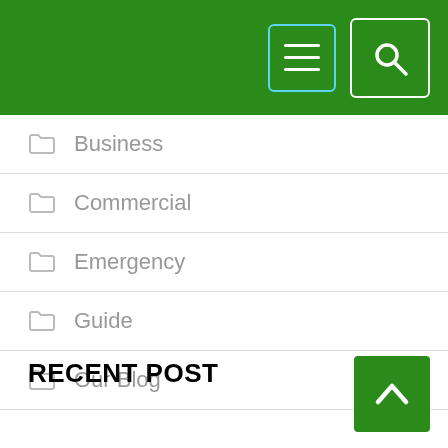[Figure (screenshot): Green header bar with hamburger menu button (cyan border) and search icon button (white border)]
Business
Commercial
Emergency
Guide
Our Blog
RECENT POST
[Figure (illustration): Green back-to-top button with upward chevron arrow in bottom right corner]